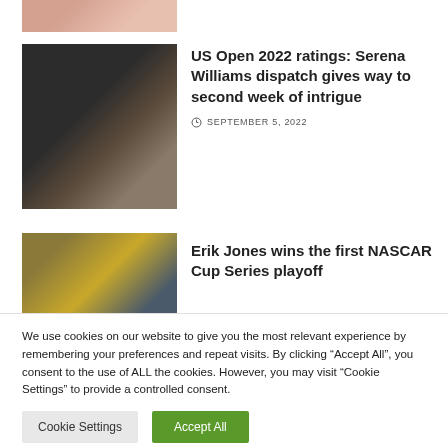[Figure (photo): Partial view of a person image cropped at top of page]
[Figure (photo): Serena Williams at US Open 2022, crowd in background]
US Open 2022 ratings: Serena Williams dispatch gives way to second week of intrigue
SEPTEMBER 5, 2022
[Figure (photo): Erik Jones NASCAR Cup Series playoff race crowd scene]
Erik Jones wins the first NASCAR Cup Series playoff
We use cookies on our website to give you the most relevant experience by remembering your preferences and repeat visits. By clicking “Accept All”, you consent to the use of ALL the cookies. However, you may visit “Cookie Settings” to provide a controlled consent.